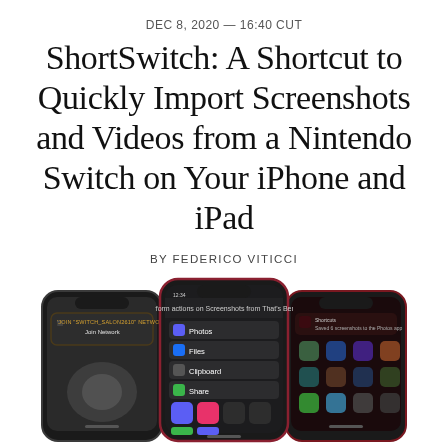DEC 8, 2020 — 16:40 CUT
ShortSwitch: A Shortcut to Quickly Import Screenshots and Videos from a Nintendo Switch on Your iPhone and iPad
BY FEDERICO VITICCI
[Figure (photo): Three iPhone screenshots showing the ShortSwitch shortcut workflow: left phone shows a Wi-Fi network join prompt, center phone shows a shortcuts action menu with options including Photos, Files, Clipboard, and Share, right phone shows a confirmation that screenshots were saved to the Photos app. All phones have dark UI.]